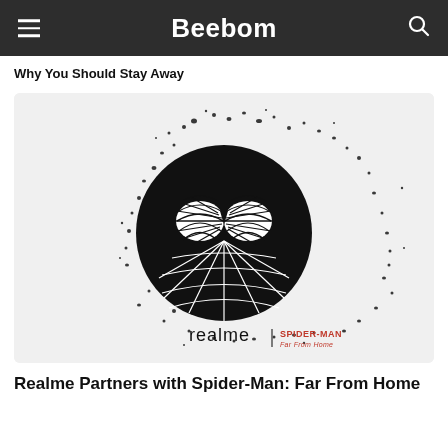Beebom
Why You Should Stay Away
[Figure (illustration): Realme x Spider-Man: Far From Home promotional image showing Spider-Man mask in splatter ink style with realme and Spider-Man Far From Home logos]
Realme Partners with Spider-Man: Far From Home